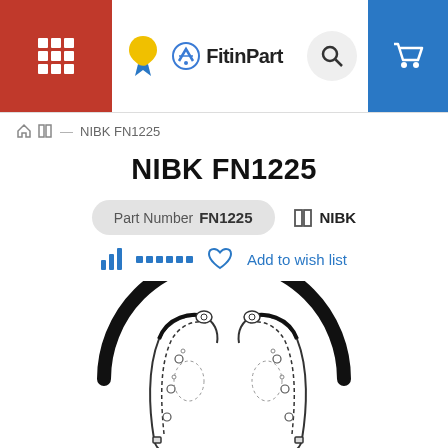FitinPart — navigation header with menu, ribbon logo, search, and cart
⌂ ⊟ — NIBK FN1225
NIBK FN1225
Part Number FN1225   ⊟ NIBK
Add to wish list
[Figure (illustration): Technical line drawing of brake shoes (NIBK FN1225) — two curved brake shoe components shown inside a circular drum outline, black arc on top, detailed mechanical sketch style]